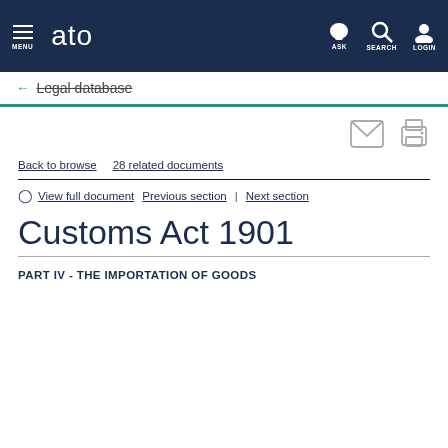MENU  ato  ASK  SEARCH  LOGIN
← Legal database
[Figure (screenshot): Email and print action icons]
Back to browse   28 related documents
View full document   Previous section  |  Next section
Customs Act 1901
PART IV - THE IMPORTATION OF GOODS